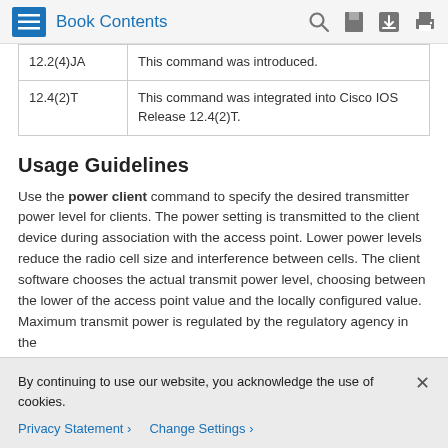Book Contents
| 12.2(4)JA | This command was introduced. |
| 12.4(2)T | This command was integrated into Cisco IOS Release 12.4(2)T. |
Usage Guidelines
Use the power client command to specify the desired transmitter power level for clients. The power setting is transmitted to the client device during association with the access point. Lower power levels reduce the radio cell size and interference between cells. The client software chooses the actual transmit power level, choosing between the lower of the access point value and the locally configured value. Maximum transmit power is regulated by the regulatory agency in the
By continuing to use our website, you acknowledge the use of cookies.
Privacy Statement  Change Settings